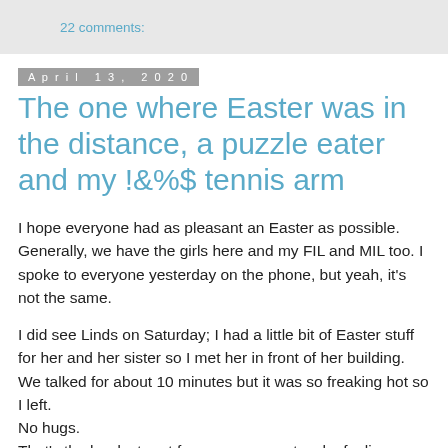22 comments:
April 13, 2020
The one where Easter was in the distance, a puzzle eater and my !&%$ tennis arm
I hope everyone had as pleasant an Easter as possible. Generally, we have the girls here and my FIL and MIL too. I spoke to everyone yesterday on the phone, but yeah, it's not the same.
I did see Linds on Saturday; I had a little bit of Easter stuff for her and her sister so I met her in front of her building. We talked for about 10 minutes but it was so freaking hot so I left.
No hugs.
That's the hardest part for me; we are a touchy feeling